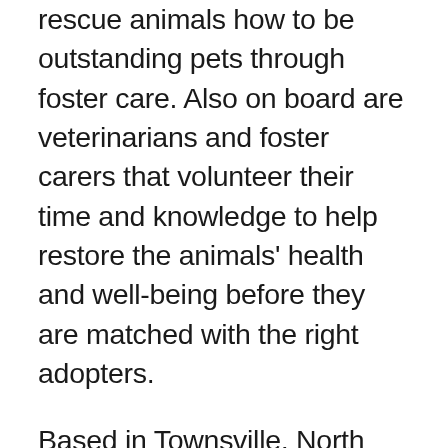rescue animals how to be outstanding pets through foster care. Also on board are veterinarians and foster carers that volunteer their time and knowledge to help restore the animals' health and well-being before they are matched with the right adopters.
Based in Townsville, North Queensland, Angel-Paws Inc. is a a no-kill rescue that extends help to areas such as Cairns, Charter Towers, Bowen, and Palm Island, traveling as far as Perth and Hobart to give the rescue animals to their new, deserving families. Every animal they take in receives the care it deserves until it moves on to a permanent home. This organisation is purely moved by passionate volunteers who want to make a difference in the lives of their four-legged